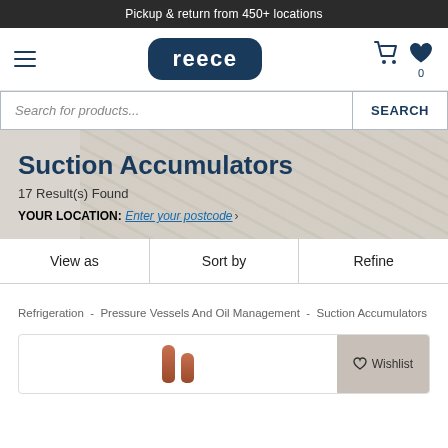Pickup & return from 450+ locations
[Figure (logo): Reece company logo, white text on dark navy rounded rectangle]
Suction Accumulators
17 Result(s) Found
YOUR LOCATION: Enter your postcode >
View as | Sort by | Refine
Refrigeration - Pressure Vessels And Oil Management - Suction Accumulators
[Figure (photo): Partial product card showing two copper suction accumulator pipes/cylinders with Wishlist button]